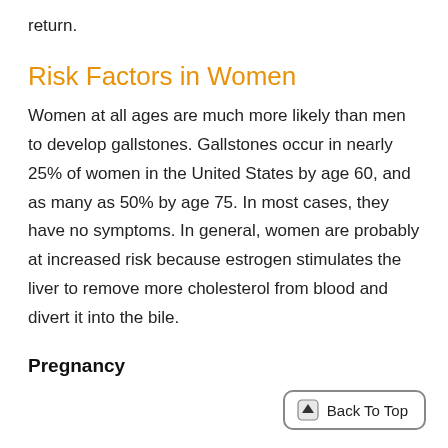return.
Risk Factors in Women
Women at all ages are much more likely than men to develop gallstones. Gallstones occur in nearly 25% of women in the United States by age 60, and as many as 50% by age 75. In most cases, they have no symptoms. In general, women are probably at increased risk because estrogen stimulates the liver to remove more cholesterol from blood and divert it into the bile.
Pregnancy